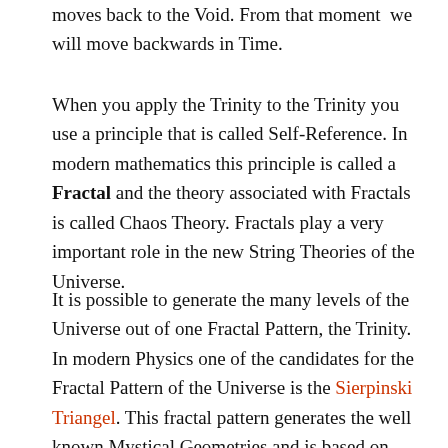moves back to the Void. From that moment we will move backwards in Time.
When you apply the Trinity to the Trinity you use a principle that is called Self-Reference. In modern mathematics this principle is called a Fractal and the theory associated with Fractals is called Chaos Theory. Fractals play a very important role in the new String Theories of the Universe.
It is possible to generate the many levels of the Universe out of one Fractal Pattern, the Trinity. In modern Physics one of the candidates for the Fractal Pattern of the Universe is the Sierpinski Triangel. This fractal pattern generates the well known Mystical Geometries and is based on Trinities.